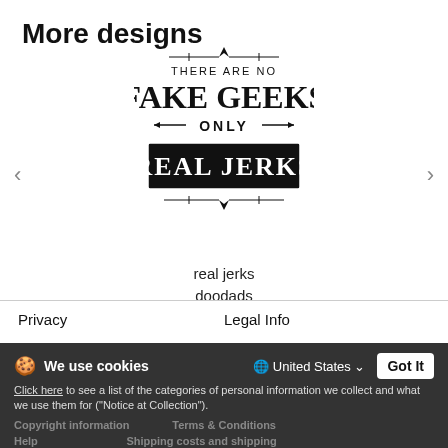More designs
[Figure (illustration): Black and white graphic design with decorative typography reading: THERE ARE NO FAKE GEEKS ONLY REAL JERKS]
real jerks
doodads
Privacy
Legal Info
We use cookies
United States
Got It
Click here to see a list of the categories of personal information we collect and what we use them for ("Notice at Collection").
Copyright information
Terms & Conditions
Help
Shipping costs and shipping times
Privacy Policy
Do Not Sell My Personal Information
By using this website, I agree to the Terms and Conditions
……t.com